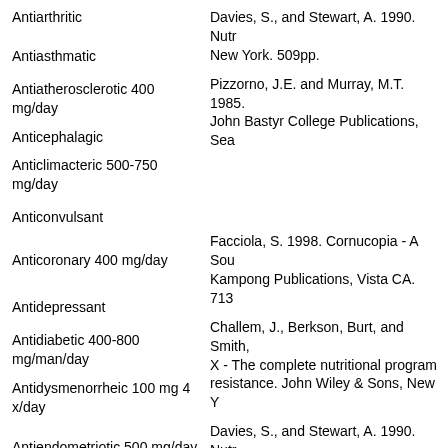Antiarthritic
Davies, S., and Stewart, A. 1990. Nutr... New York. 509pp.
Antiasthmatic
Pizzorno, J.E. and Murray, M.T. 1985. John Bastyr College Publications, Sea...
Antiatherosclerotic 400 mg/day
Anticephalagic
Anticlimacteric 500-750 mg/day
Anticonvulsant
Facciola, S. 1998. Cornucopia - A Sou... Kampong Publications, Vista CA. 713...
Anticoronary 400 mg/day
Challem, J., Berkson, Burt, and Smith. X - The complete nutritional program resistance. John Wiley & Sons, New Y...
Antidepressant
Davies, S., and Stewart, A. 1990. Nutr... New York. 509pp.
Antidiabetic 400-800 mg/man/day
Antidysmenorrheic 100 mg 4 x/day
Werbach, M. 1993. Healing with Food... pp.
Antiendometriotic 500 mg/day